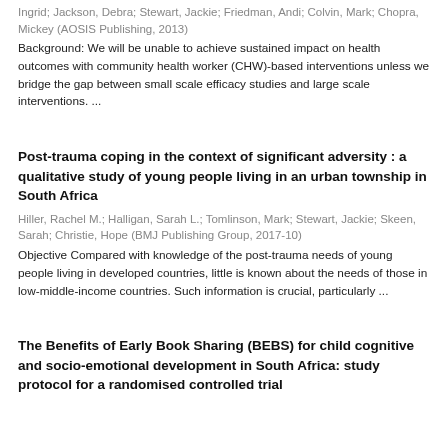Ingrid; Jackson, Debra; Stewart, Jackie; Friedman, Andi; Colvin, Mark; Chopra, Mickey (AOSIS Publishing, 2013)
Background: We will be unable to achieve sustained impact on health outcomes with community health worker (CHW)-based interventions unless we bridge the gap between small scale efficacy studies and large scale interventions. ...
Post-trauma coping in the context of significant adversity : a qualitative study of young people living in an urban township in South Africa
Hiller, Rachel M.; Halligan, Sarah L.; Tomlinson, Mark; Stewart, Jackie; Skeen, Sarah; Christie, Hope (BMJ Publishing Group, 2017-10)
Objective Compared with knowledge of the post-trauma needs of young people living in developed countries, little is known about the needs of those in low-middle-income countries. Such information is crucial, particularly ...
The Benefits of Early Book Sharing (BEBS) for child cognitive and socio-emotional development in South Africa: study protocol for a randomised controlled trial